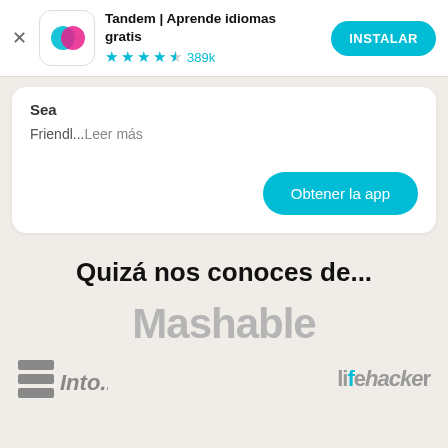[Figure (screenshot): App store ad banner for Tandem app with icon, title, stars rating, and install button]
Tandem | Aprende idiomas gratis
★★★★½ 389k
INSTALAR
Sea
Friendl...Leer más
Obtener la app
Quizá nos conoces de...
Mashable